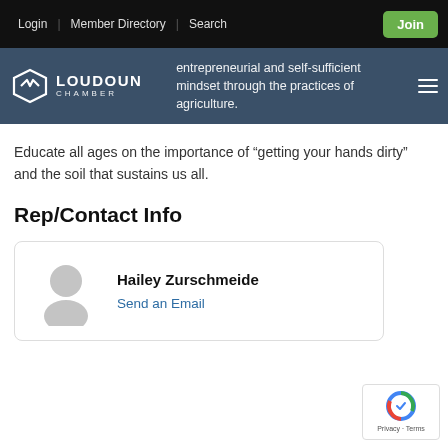Login | Member Directory | Search | Join
[Figure (logo): Loudoun Chamber logo with diamond/arrow icon and text LOUDOUN CHAMBER]
entrepreneurial and self-sufficient mindset through the practices of agriculture.
Educate all ages on the importance of “getting your hands dirty” and the soil that sustains us all.
Rep/Contact Info
Hailey Zurschmeide
Send an Email